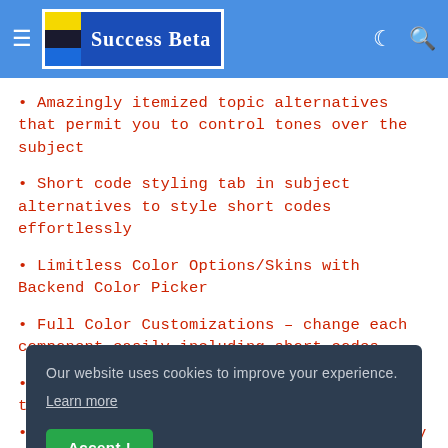Success Beta
• Amazingly itemized topic alternatives that permit you to control tones over the subject
• Short code styling tab in subject alternatives to style short codes effortlessly
• Limitless Color Options/Skins with Backend Color Picker
• Full Color Customizations – change each component easily including short codes
• Pick a Light or Dark skin with a single tick
Our website uses cookies to improve your experience. Learn more
• 3 format choices to browse: Grid, Masonry